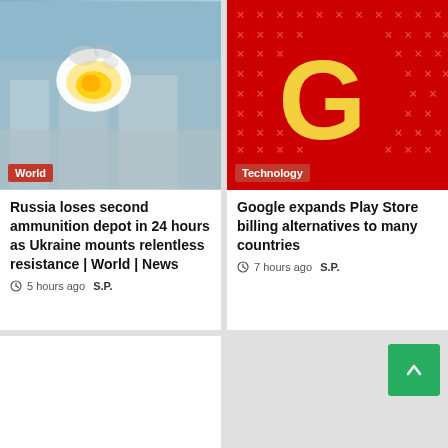[Figure (photo): Explosion or fire at an ammunition depot, blurry outdoor scene with blue-grey tones and bright flash]
World
Russia loses second ammunition depot in 24 hours as Ukraine mounts relentless resistance | World | News
5 hours ago  S.P.
[Figure (logo): Google logo - large yellow G on red background with pattern of orange X marks]
Technology
Google expands Play Store billing alternatives to many countries
7 hours ago  S.P.